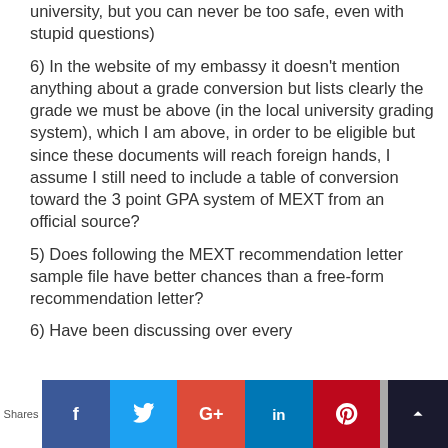university, but you can never be too safe, even with stupid questions)
6) In the website of my embassy it doesn't mention anything about a grade conversion but lists clearly the grade we must be above (in the local university grading system), which I am above, in order to be eligible but since these documents will reach foreign hands, I assume I still need to include a table of conversion toward the 3 point GPA system of MEXT from an official source?
5) Does following the MEXT recommendation letter sample file have better chances than a free-form recommendation letter?
6) Have been discussing over every...
Shares | f | t | G+ | in | P | mail | crown